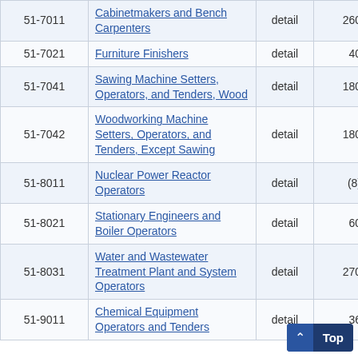| Code | Occupation | Level | Employment | ... |
| --- | --- | --- | --- | --- |
| 51-7011 | Cabinetmakers and Bench Carpenters | detail | 260 | 6... |
| 51-7021 | Furniture Finishers | detail | 40 | 22... |
| 51-7041 | Sawing Machine Setters, Operators, and Tenders, Wood | detail | 180 | 13... |
| 51-7042 | Woodworking Machine Setters, Operators, and Tenders, Except Sawing | detail | 180 | 13... |
| 51-8011 | Nuclear Power Reactor Operators | detail | (8) |  |
| 51-8021 | Stationary Engineers and Boiler Operators | detail | 60 | 29... |
| 51-8031 | Water and Wastewater Treatment Plant and System Operators | detail | 270 | 5... |
| 51-9011 | Chemical Equipment Operators and Tenders | detail | 36... |  |